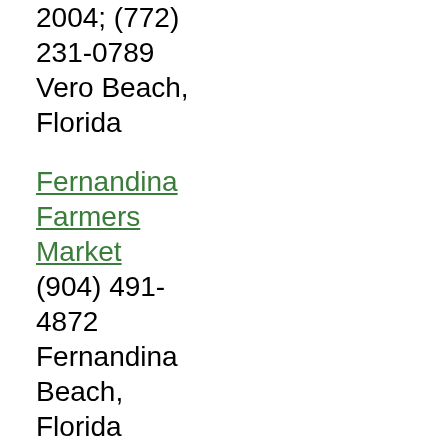2004; (772) 231-0789
Vero Beach, Florida
Fernandina Farmers Market
(904) 491-4872
Fernandina Beach, Florida
Flagler Beach Farmers Market
(386) 439-2881 or (386) 439-0109
Flagler Beach, Florida 32136
Florida Estates Winery